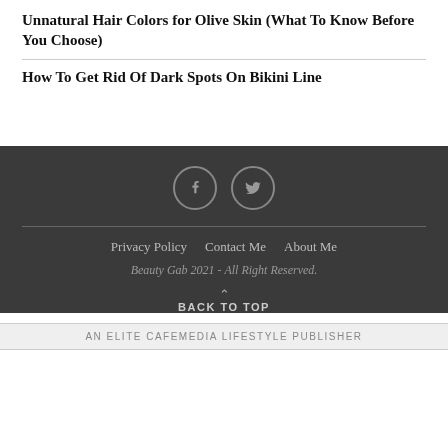Unnatural Hair Colors for Olive Skin (What To Know Before You Choose)
How To Get Rid Of Dark Spots On Bikini Line
[Figure (illustration): Social media icons: Facebook (f) and Twitter (bird) in circular outlines on dark background]
Privacy Policy  Contact Me  About Me
Beauty Gab 2021 - All Right Reserved.
BACK TO TOP
AN ELITE CAFEMEDIA LIFESTYLE PUBLISHER